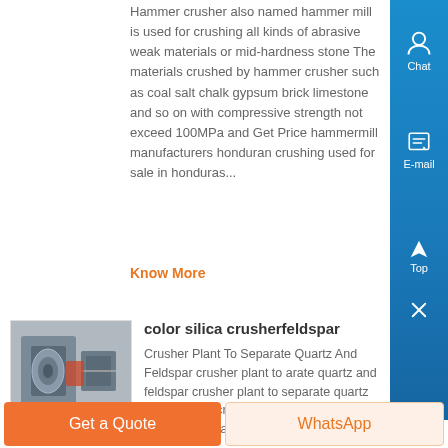Hammer crusher also named hammer mill is used for crushing all kinds of abrasive weak materials or mid-hardness stone The materials crushed by hammer crusher such as coal salt chalk gypsum brick limestone and so on with compressive strength not exceed 100MPa and Get Price hammermill manufacturers honduran crushing used for sale in honduras...
Know More
color silica crusherfeldspar
[Figure (photo): Industrial crusher machine photo thumbnail]
Crusher Plant To Separate Quartz And Feldspar crusher plant to arate quartz and feldspar crusher plant to separate quartz and feldspar crusher plant to arate quartz and feldspar rajcate eldspar
Get a Quote
WhatsApp